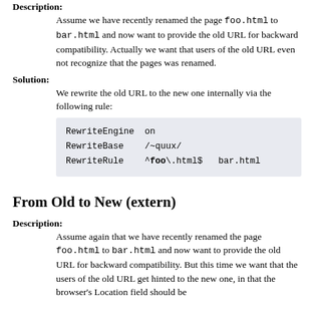Description:
Assume we have recently renamed the page foo.html to bar.html and now want to provide the old URL for backward compatibility. Actually we want that users of the old URL even not recognize that the pages was renamed.
Solution:
We rewrite the old URL to the new one internally via the following rule:
RewriteEngine  on
RewriteBase    /~quux/
RewriteRule    ^foo\.html$  bar.html
From Old to New (extern)
Description:
Assume again that we have recently renamed the page foo.html to bar.html and now want to provide the old URL for backward compatibility. But this time we want that the users of the old URL get hinted to the new one, in that the browser's Location field should be